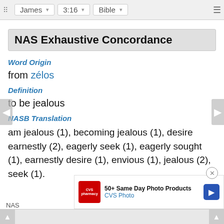James  3:16  Bible
NAS Exhaustive Concordance
Word Origin
from zélos
Definition
to be jealous
NASB Translation
am jealous (1), becoming jealous (1), desire earnestly (2), eagerly seek (1), eagerly sought (1), earnestly desire (1), envious (1), jealous (2), seek (1).
NAS ... reek
[Figure (screenshot): CVS Photo advertisement banner: '50+ Same Day Photo Products' with CVS Pharmacy logo and blue navigation arrow icon]